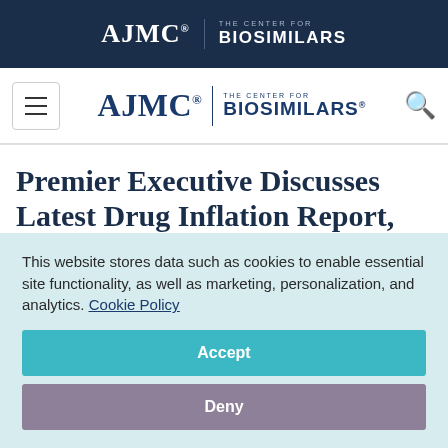AJMC | THE CENTER FOR BIOSIMILARS
[Figure (logo): AJMC The Center for Biosimilars navigation logo with hamburger menu and search icon]
Premier Executive Discusses Latest Drug Inflation Report, Value-Based Contracts
September 10, 2019
This website stores data such as cookies to enable essential site functionality, as well as marketing, personalization, and analytics. Cookie Policy
Accept
Deny